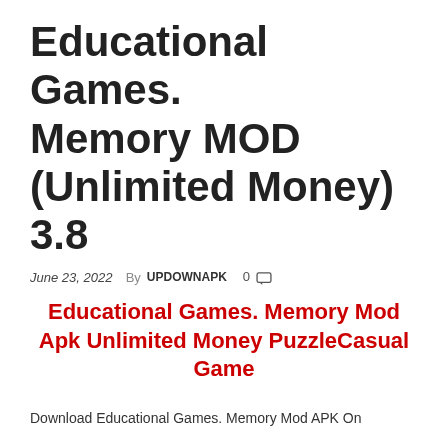Educational Games. Memory MOD (Unlimited Money) 3.8
June 23, 2022  By UPDOWNAPK  0
Educational Games. Memory Mod Apk Unlimited Money PuzzleCasual Game
Download Educational Games. Memory Mod APK On